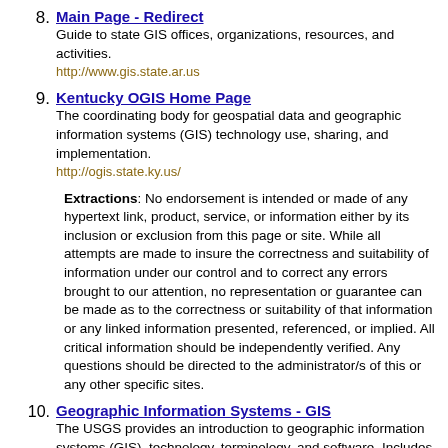8. Main Page - Redirect
Guide to state GIS offices, organizations, resources, and activities.
http://www.gis.state.ar.us
9. Kentucky OGIS Home Page
The coordinating body for geospatial data and geographic information systems (GIS) technology use, sharing, and implementation.
http://ogis.state.ky.us/
Extractions: No endorsement is intended or made of any hypertext link, product, service, or information either by its inclusion or exclusion from this page or site. While all attempts are made to insure the correctness and suitability of information under our control and to correct any errors brought to our attention, no representation or guarantee can be made as to the correctness or suitability of that information or any linked information presented, referenced, or implied. All critical information should be independently verified. Any questions should be directed to the administrator/s of this or any other specific sites.
10. Geographic Information Systems - GIS
The USGS provides an introduction to geographic information systems (GIS), technology, terminology, and software. Includes standard, examples, and guide. geographic information systems. geographic information systems (GIS) technology can be used for scientific